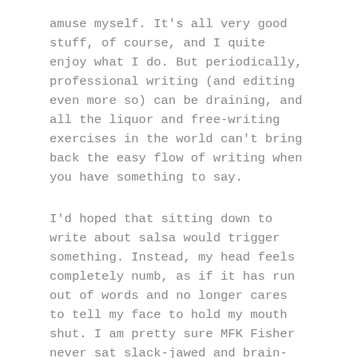amuse myself. It's all very good stuff, of course, and I quite enjoy what I do. But periodically, professional writing (and editing even more so) can be draining, and all the liquor and free-writing exercises in the world can't bring back the easy flow of writing when you have something to say.
I'd hoped that sitting down to write about salsa would trigger something. Instead, my head feels completely numb, as if it has run out of words and no longer cares to tell my face to hold my mouth shut. I am pretty sure MFK Fisher never sat slack-jawed and brain-dead waiting for something good to happen.
Fortunately, where the words sometimes disappear, the food is almost always reliable. At the end of a day measured in word counts and tracked changes, there